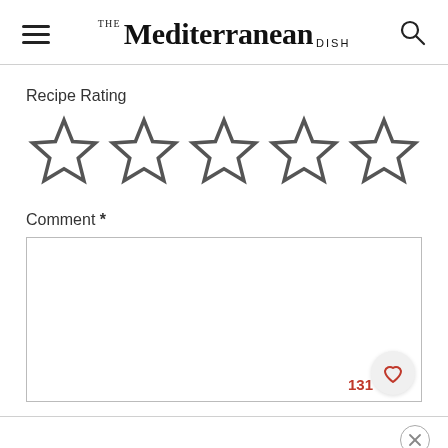THE Mediterranean DISH
Recipe Rating
[Figure (other): Five empty star rating icons]
Comment *
[Figure (other): Comment text area box with character count 131 and heart/favorite button]
Name *